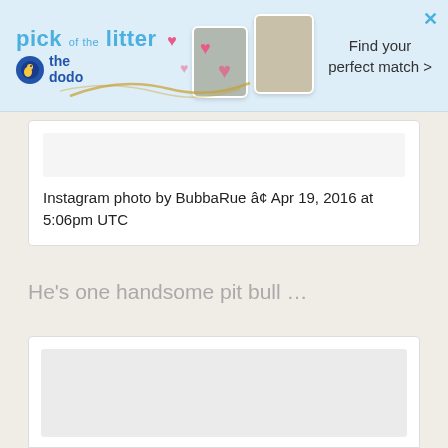[Figure (screenshot): Ad banner for 'pick of the litter' by The Dodo showing pet photos and text 'Find your perfect match >']
Instagram photo by BubbaRue â¢ Apr 19, 2016 at 5:06pm UTC
He's one handsome pit bull …
[Figure (screenshot): Partial Instagram card/embed at bottom of page, mostly blank/loading]